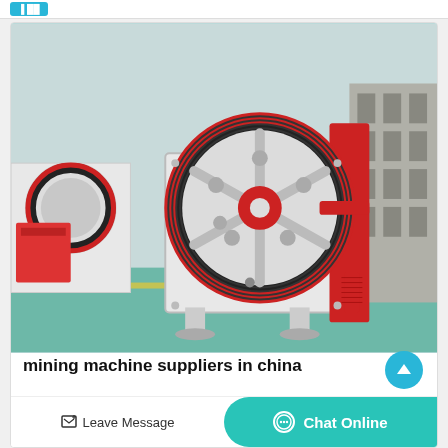[Figure (photo): Industrial jaw crusher machine in red and white, photographed in a factory/warehouse setting with green floors. The crusher has a large flywheel with red trim and black belt drive visible.]
mining machine suppliers in china
May 16, 2021 May 16, 2021 2021
Leave Message
Chat Online